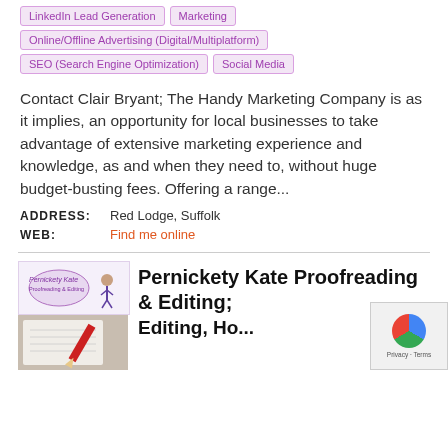LinkedIn Lead Generation
Marketing
Online/Offline Advertising (Digital/Multiplatform)
SEO (Search Engine Optimization)
Social Media
Contact Clair Bryant; The Handy Marketing Company is as it implies, an opportunity for local businesses to take advantage of extensive marketing experience and knowledge, as and when they need to, without huge budget-busting fees. Offering a range...
ADDRESS: Red Lodge, Suffolk
WEB: Find me online
Pernickety Kate Proofreading & Editing; Editing, Ho...